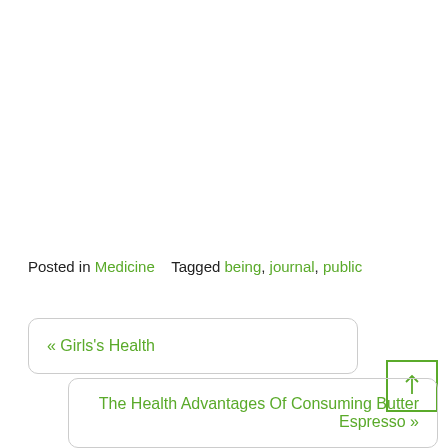Posted in Medicine    Tagged being, journal, public
« Girls's Health
The Health Advantages Of Consuming Butter Espresso »